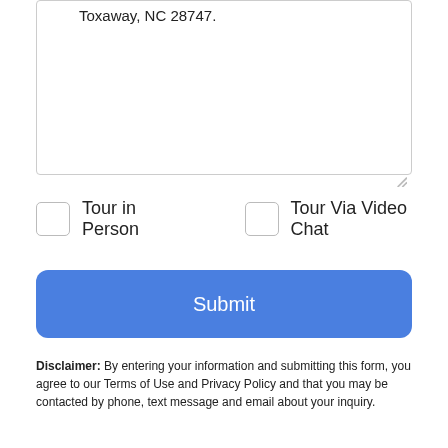Toxaway, NC 28747.
Tour in Person
Tour Via Video Chat
Submit
Disclaimer: By entering your information and submitting this form, you agree to our Terms of Use and Privacy Policy and that you may be contacted by phone, text message and email about your inquiry.
[Figure (logo): MLS GRID logo with layered diamond shapes in teal, purple, and green colors]
Based on information submitted to the MLS GRID as of 2022-08-26T00:08:10.937 UTC. All data is obtained from various sources and may not have been verified by broker or MLS
Take a Tour
Ask A Question